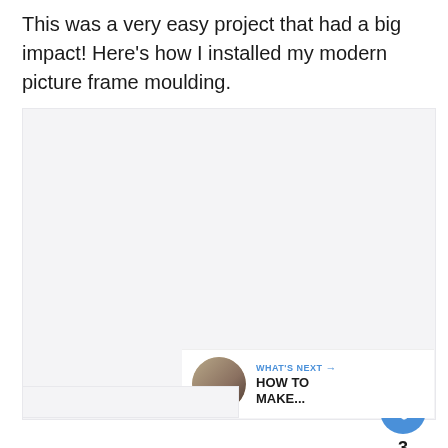This was a very easy project that had a big impact! Here's how I installed my modern picture frame moulding.
[Figure (photo): Large light gray placeholder image area for a photo, with three navigation dots at the bottom center. A heart/like button (blue circle), count of 3, and share button appear on the right side overlay. A 'WHAT'S NEXT → HOW TO MAKE...' bar appears at the bottom right with a circular thumbnail.]